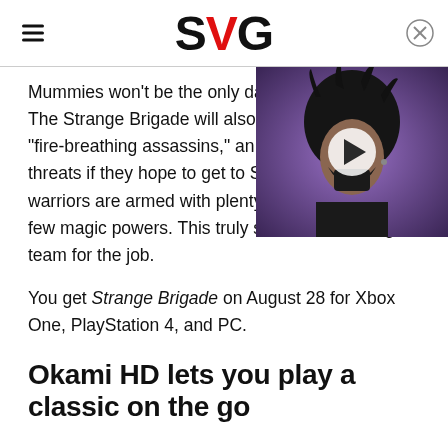SVG
[Figure (screenshot): Video thumbnail showing an illustrated character with dark spiky hair, red glowing eye, and a dark mask, on a purple background with a play button overlay]
Mummies won't be the only danger facing The Strange Brigade will also encounter "fire-breathing assassins," and other threats if they hope to get to Seteki. Luckily, these warriors are armed with plenty of guns and even a few magic powers. This truly sounds like the right team for the job.
You get Strange Brigade on August 28 for Xbox One, PlayStation 4, and PC.
Okami HD lets you play a classic on the go